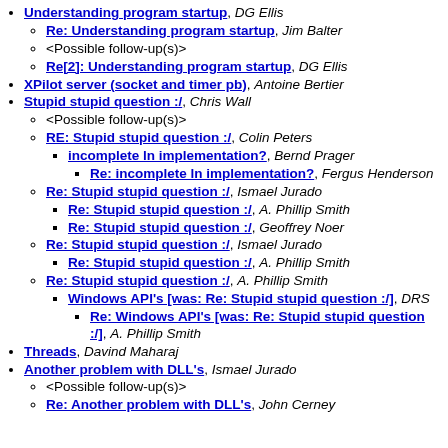Understanding program startup, DG Ellis
Re: Understanding program startup, Jim Balter
<Possible follow-up(s)>
Re[2]: Understanding program startup, DG Ellis
XPilot server (socket and timer pb), Antoine Bertier
Stupid stupid question :/, Chris Wall
<Possible follow-up(s)>
RE: Stupid stupid question :/, Colin Peters
incomplete ln implementation?, Bernd Prager
Re: incomplete ln implementation?, Fergus Henderson
Re: Stupid stupid question :/, Ismael Jurado
Re: Stupid stupid question :/, A. Phillip Smith
Re: Stupid stupid question :/, Geoffrey Noer
Re: Stupid stupid question :/, Ismael Jurado
Re: Stupid stupid question :/, A. Phillip Smith
Re: Stupid stupid question :/, A. Phillip Smith
Windows API's [was: Re: Stupid stupid question :/], DRS
Re: Windows API's [was: Re: Stupid stupid question :/], A. Phillip Smith
Threads, Davind Maharaj
Another problem with DLL's, Ismael Jurado
<Possible follow-up(s)>
Re: Another problem with DLL's, John Cerney